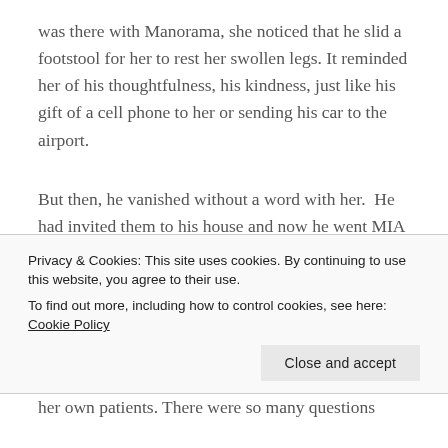was there with Manorama, she noticed that he slid a footstool for her to rest her swollen legs. It reminded her of his thoughtfulness, his kindness, just like his gift of a cell phone to her or sending his car to the airport.
But then, he vanished without a word with her.  He had invited them to his house and now he went MIA on them? How odd, thought Khushi and also a
Privacy & Cookies: This site uses cookies. By continuing to use this website, you agree to their use.
To find out more, including how to control cookies, see here: Cookie Policy
her own patients. There were so many questions